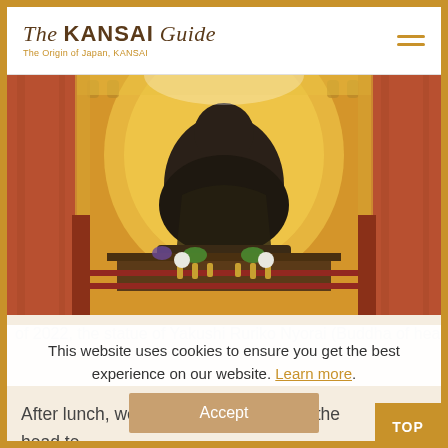The KANSAI Guide — The Origin of Japan, KANSAI
[Figure (photo): Interior of Yakushiji Temple showing a large bronze Buddha statue (Yakushi Ruriko Nyorai) in a golden altar setting with red lacquered wood pillars and decorative offerings]
of 2022, the statue of Yakushi Ruriko Nyorai (Buddha of healing) holds
This website uses cookies to ensure you get the best experience on our website. Learn more.
Accept
After lunch, we visit Yakushiji Temple, the head te
of the Hosso sect of Buddhism. On arrival at the te